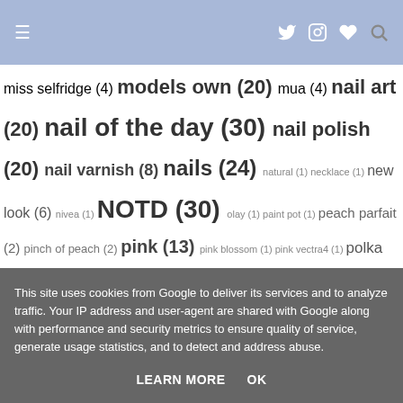Navigation header with hamburger menu and social icons
miss selfridge (4) models own (20) mua (4) nail art (20) nail of the day (30) nail polish (20) nail varnish (8) nails (24) natural (1) necklace (1) new look (6) nivea (1) NOTD (30) olay (1) paint pot (1) peach parfait (2) pinch of peach (2) pink (13) pink blossom (1) pink vectra4 (1) polka dots (5) pound world (3) primark (3) red (3) review (79) rimmel (12) sally hanson (4) sally hanson natural beauty (1) shiny leggings (1) shopping (6) sinful colors (3) SPF15 (1) step-by-step (1) superdrug (9) swatch (25) swatches (50) sweet tart (2) topshop (10) tutti frutti (2) vectra4 (1) waterproof eyeliner pen (1) what I bought (4) wishlist (13)
This site uses cookies from Google to deliver its services and to analyze traffic. Your IP address and user-agent are shared with Google along with performance and security metrics to ensure quality of service, generate usage statistics, and to detect and address abuse.